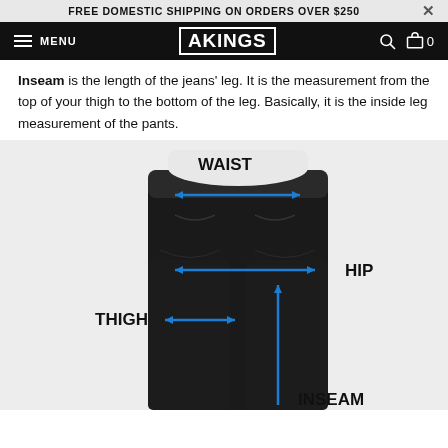FREE DOMESTIC SHIPPING ON ORDERS OVER $250
AKINGS — MENU, Search, Cart 0
Inseam is the length of the jeans' leg. It is the measurement from the top of your thigh to the bottom of the leg. Basically, it is the inside leg measurement of the pants.
[Figure (illustration): Diagram of jeans showing measurement points labeled WAIST (blue arrow across waist), HIP (blue arrow across hip area), THIGH (blue arrow across thigh), and INSEAM (blue arrow pointing upward along inseam length).]